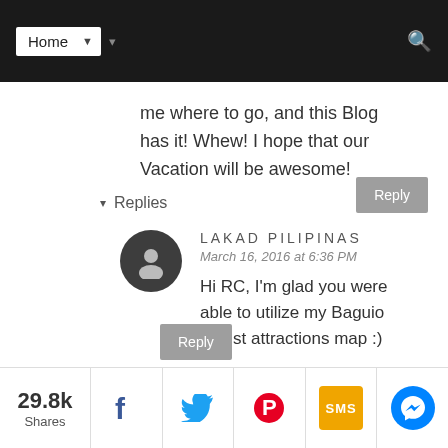Home
me where to go, and this Blog has it! Whew! I hope that our Vacation will be awesome!
▾ Replies
LAKAD PILIPINAS
March 16, 2016 at 6:36 PM
Hi RC, I'm glad you were able to utilize my Baguio tourist attractions map :)
29.8k Shares